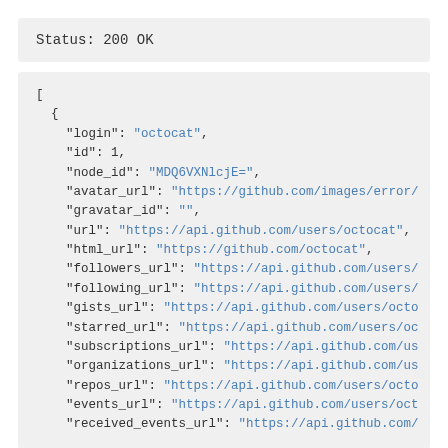Status: 200 OK
[
  {
    "login": "octocat",
    "id": 1,
    "node_id": "MDQ6VXNlcjE=",
    "avatar_url": "https://github.com/images/error/",
    "gravatar_id": "",
    "url": "https://api.github.com/users/octocat",
    "html_url": "https://github.com/octocat",
    "followers_url": "https://api.github.com/users/",
    "following_url": "https://api.github.com/users/",
    "gists_url": "https://api.github.com/users/octo",
    "starred_url": "https://api.github.com/users/oc",
    "subscriptions_url": "https://api.github.com/us",
    "organizations_url": "https://api.github.com/us",
    "repos_url": "https://api.github.com/users/octo",
    "events_url": "https://api.github.com/users/oct",
    "received_events_url": "https://api.github.com/"